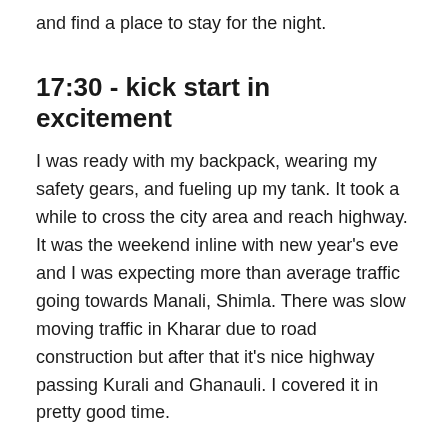and find a place to stay for the night.
17:30 - kick start in excitement
I was ready with my backpack, wearing my safety gears, and fueling up my tank. It took a while to cross the city area and reach highway. It was the weekend inline with new year's eve and I was expecting more than average traffic going towards Manali, Shimla. There was slow moving traffic in Kharar due to road construction but after that it's nice highway passing Kurali and Ghanauli. I covered it in pretty good time.
18:30 - Winter is coming
While speeding around 80-100 I soon realized my chin and